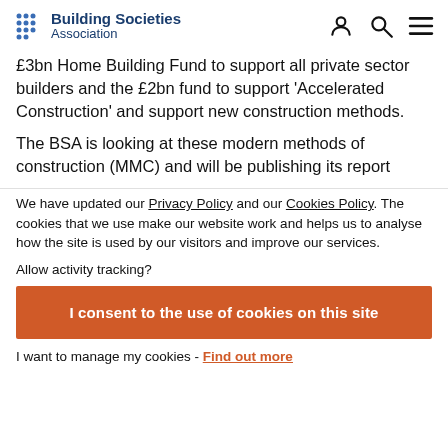Building Societies Association
£3bn Home Building Fund to support all private sector builders and the £2bn fund to support 'Accelerated Construction' and support new construction methods.
The BSA is looking at these modern methods of construction (MMC) and will be publishing its report
We have updated our Privacy Policy and our Cookies Policy. The cookies that we use make our website work and helps us to analyse how the site is used by our visitors and improve our services.
Allow activity tracking?
I consent to the use of cookies on this site
I want to manage my cookies - Find out more